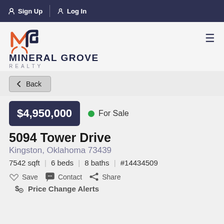Sign Up | Log In
[Figure (logo): Mineral Grove Realty logo with orange and navy MG lettermark]
← Back
$4,950,000  ● For Sale
5094 Tower Drive
Kingston, Oklahoma 73439
7542 sqft | 6 beds | 8 baths | #14434509
♡ Save  ✉ Contact  ⑆ Share
$ Price Change Alerts